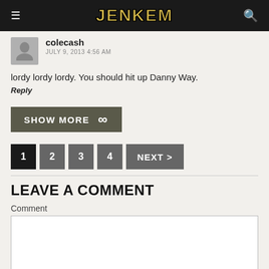JENKEM
colecash
JULY 9, 2013 4:56 AM
lordy lordy lordy. You should hit up Danny Way.
Reply
[Figure (other): SHOW MORE button with infinity symbol]
[Figure (other): Pagination: 1 (active), 2, 3, 4, NEXT >]
LEAVE A COMMENT
Comment
Name*